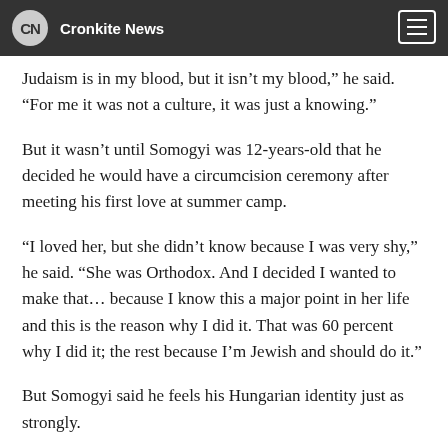CN Cronkite News
Judaism is in my blood, but it isn't my blood," he said. "For me it was not a culture, it was just a knowing."
But it wasn't until Somogyi was 12-years-old that he decided he would have a circumcision ceremony after meeting his first love at summer camp.
“I loved her, but she didn’t know because I was very shy,” he said. “She was Orthodox. And I decided I wanted to make that… because I know this a major point in her life and this is the reason why I did it. That was 60 percent why I did it; the rest because I’m Jewish and should do it.”
But Somogyi said he feels his Hungarian identity just as strongly.
“I am Jewish living in Hungary, and my mother language is Hungarian, it’s very difficult to describe this feeling but I feel it